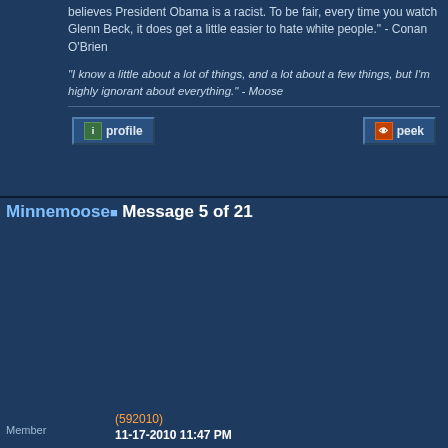believes President Obama is a racist. To be fair, every time you watch Glenn Beck, it does get a little easier to hate white people." - Conan O'Brien
"I know a little about a lot of things, and a lot about a few things, but I'm highly ignorant about everything." - Moose
profile | peek
Minnemoose  Message 5 of 21
Member
(592010)
11-17-2010 11:47 PM
[Figure (illustration): Cartoon illustration of a cat viewed from behind, with tail raised, on white background]
Coyote, at "Uniformitarianism and Geology"
Author: Coyote
Forum: Geology and the Great Flood
Thread: Uniformitarianism and Geology
Message #: 3
Message 1 was the topic proposal, message 2 was the administrative topic promotion message, and message 3 pretty much says all that needs to be said in response to message 1
Posts: 3885
From: Duluth, Minnesota,